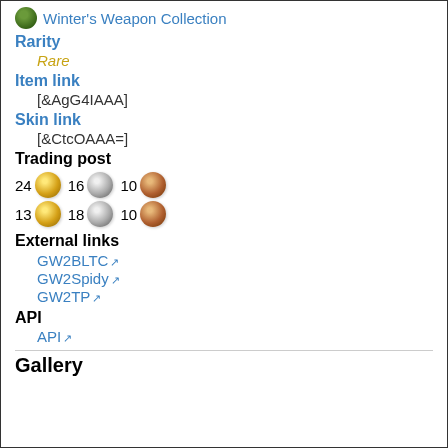Winter's Weapon Collection
Rarity
Rare
Item link
[&AgG4IAAA]
Skin link
[&CtcOAAA=]
Trading post
24 gold 16 silver 10 copper
13 gold 18 silver 10 copper
External links
GW2BLTC
GW2Spidy
GW2TP
API
API
Gallery